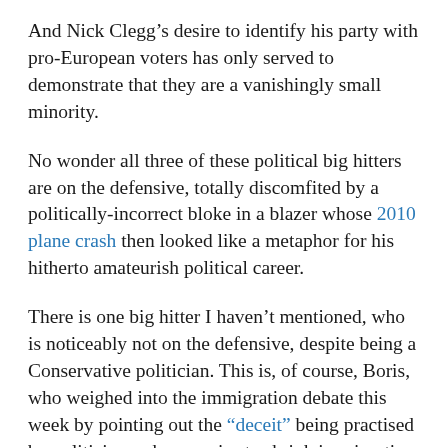And Nick Clegg’s desire to identify his party with pro-European voters has only served to demonstrate that they are a vanishingly small minority.
No wonder all three of these political big hitters are on the defensive, totally discomfited by a politically-incorrect bloke in a blazer whose 2010 plane crash then looked like a metaphor for his hitherto amateurish political career.
There is one big hitter I haven’t mentioned, who is noticeably not on the defensive, despite being a Conservative politician. This is, of course, Boris, who weighed into the immigration debate this week by pointing out the “deceit” being practised by politicians who promise to shrink immigration in the full knowledge that, thanks to EU rules, they are impotent to do so.